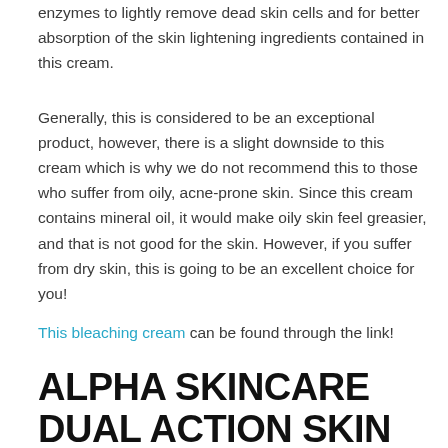enzymes to lightly remove dead skin cells and for better absorption of the skin lightening ingredients contained in this cream.
Generally, this is considered to be an exceptional product, however, there is a slight downside to this cream which is why we do not recommend this to those who suffer from oily, acne-prone skin. Since this cream contains mineral oil, it would make oily skin feel greasier, and that is not good for the skin. However, if you suffer from dry skin, this is going to be an excellent choice for you!
This bleaching cream can be found through the link!
ALPHA SKINCARE DUAL ACTION SKIN LIGHTNER
If you are someone who has